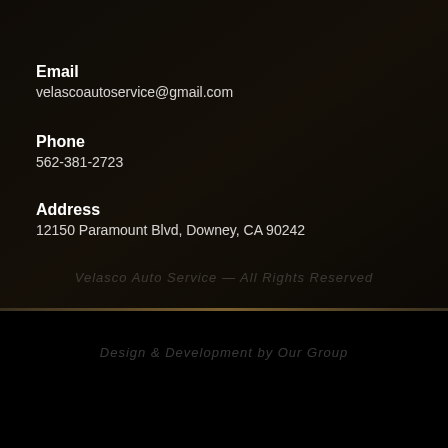Email
velascoautoservice@gmail.com
Phone
562-381-2723
Address
12150 Paramount Blvd, Downey, CA 90242